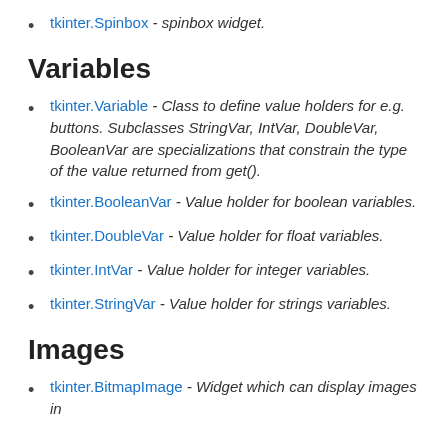tkinter.Spinbox - spinbox widget.
Variables
tkinter.Variable - Class to define value holders for e.g. buttons. Subclasses StringVar, IntVar, DoubleVar, BooleanVar are specializations that constrain the type of the value returned from get().
tkinter.BooleanVar - Value holder for boolean variables.
tkinter.DoubleVar - Value holder for float variables.
tkinter.IntVar - Value holder for integer variables.
tkinter.StringVar - Value holder for strings variables.
Images
tkinter.BitmapImage - Widget which can display images in XBM format.